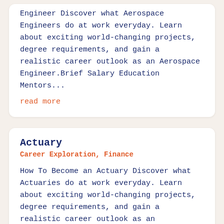Engineer Discover what Aerospace Engineers do at work everyday. Learn about exciting world-changing projects, degree requirements, and gain a realistic career outlook as an Aerospace Engineer.Brief Salary Education Mentors...
read more
Actuary
Career Exploration, Finance
How To Become an Actuary Discover what Actuaries do at work everyday. Learn about exciting world-changing projects, degree requirements, and gain a realistic career outlook as an Actuary.Brief Salary Education Mentors Happiness Job Stressors...
read more